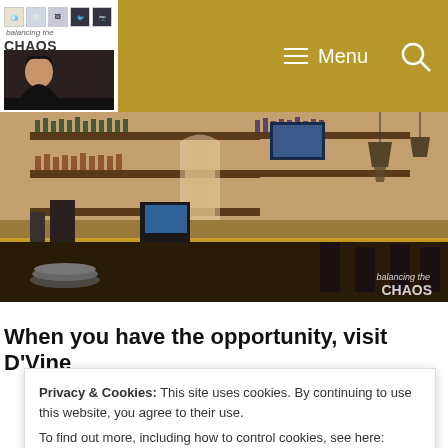balancing the CHAOS — Menu (navigation bar with hamburger menu and search icon)
[Figure (photo): Interior photo of a bar/restaurant showing shelves lined with bottles of wine and liquor, a granite bar counter with golden-lit edge, hanging pendant lights, TV screen, and elegant decor. Watermark reads 'balancing the CHAOS' in bottom right corner.]
When you have the opportunity, visit D'Vine
Privacy & Cookies: This site uses cookies. By continuing to use this website, you agree to their use.
To find out more, including how to control cookies, see here: Privacy Policy
Close and accept